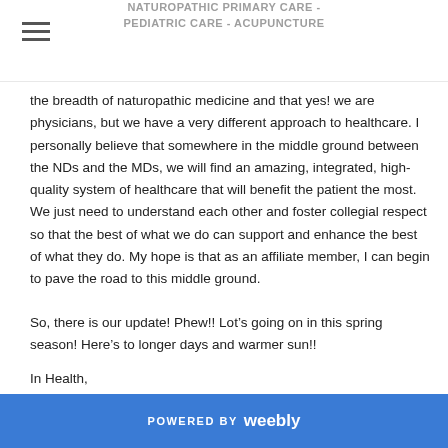NATUROPATHIC PRIMARY CARE - PEDIATRIC CARE - ACUPUNCTURE
the breadth of naturopathic medicine and that yes! we are physicians, but we have a very different approach to healthcare. I personally believe that somewhere in the middle ground between the NDs and the MDs, we will find an amazing, integrated, high-quality system of healthcare that will benefit the patient the most. We just need to understand each other and foster collegial respect so that the best of what we do can support and enhance the best of what they do. My hope is that as an affiliate member, I can begin to pave the road to this middle ground.
So, there is our update! Phew!! Lot’s going on in this spring season! Here’s to longer days and warmer sun!!
In Health,
SNFW
POWERED BY weebly